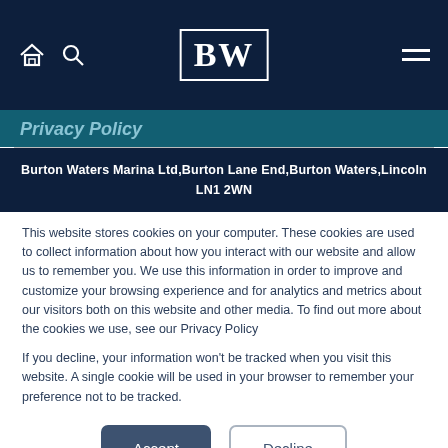BW — Burton Waters Marina navigation bar with home, search, logo, and menu icons
Privacy Policy
Burton Waters Marina Ltd,Burton Lane End,Burton Waters,Lincoln LN1 2WN
This website stores cookies on your computer. These cookies are used to collect information about how you interact with our website and allow us to remember you. We use this information in order to improve and customize your browsing experience and for analytics and metrics about our visitors both on this website and other media. To find out more about the cookies we use, see our Privacy Policy
If you decline, your information won’t be tracked when you visit this website. A single cookie will be used in your browser to remember your preference not to be tracked.
Accept | Decline